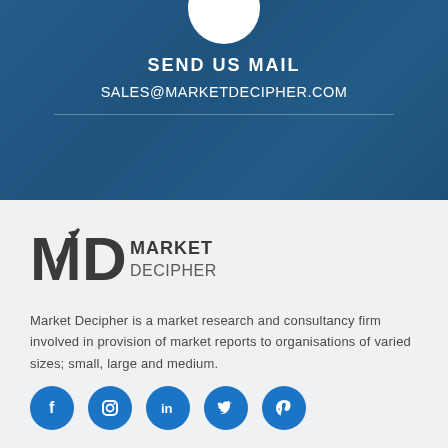[Figure (logo): White circle partially visible at top of blue banner section]
SEND US MAIL
SALES@MARKETDECIPHER.COM
[Figure (logo): Market Decipher logo with MD monogram and upward arrow accent, company name in dark gray]
Market Decipher is a market research and consultancy firm involved in provision of market reports to organisations of varied sizes; small, large and medium.
[Figure (infographic): Row of 5 social media icon circles (Facebook, Instagram, LinkedIn, Twitter, Pinterest) in blue]